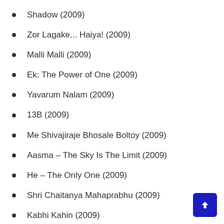Shadow (2009)
Zor Lagake... Haiya! (2009)
Malli Malli (2009)
Ek: The Power of One (2009)
Yavarum Nalam (2009)
13B (2009)
Me Shivajiraje Bhosale Boltoy (2009)
Aasma – The Sky Is The Limit (2009)
He – The Only One (2009)
Shri Chaitanya Mahaprabhu (2009)
Kabhi Kahin (2009)
Rang Rasiya / Colors Of Passion (2009)
Dumkata (2009)